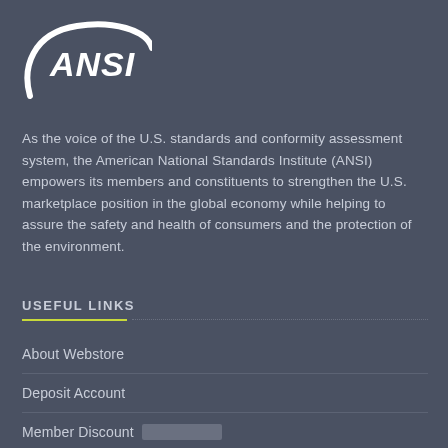[Figure (logo): ANSI logo — white curved swoosh with 'ANSI' in bold italic white text on dark background]
As the voice of the U.S. standards and conformity assessment system, the American National Standards Institute (ANSI) empowers its members and constituents to strengthen the U.S. marketplace position in the global economy while helping to assure the safety and health of consumers and the protection of the environment.
USEFUL LINKS
About Webstore
Deposit Account
Member Discount
Other Documents